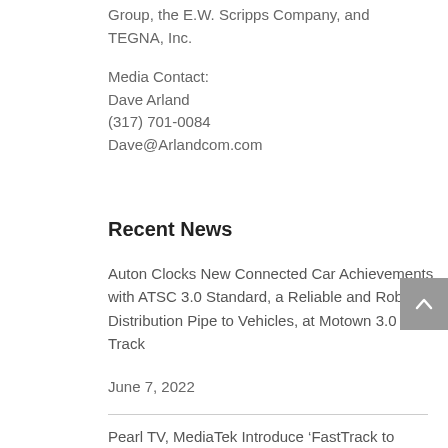Group, the E.W. Scripps Company, and TEGNA, Inc.
Media Contact:
Dave Arland
(317) 701-0084
Dave@Arlandcom.com
Recent News
Auton Clocks New Connected Car Achievements with ATSC 3.0 Standard, a Reliable and Robust Distribution Pipe to Vehicles, at Motown 3.0 Test Track
June 7, 2022
Pearl TV, MediaTek Introduce ‘FastTrack to NEXTGEN TV’—A Platform That Speeds Development and Time to